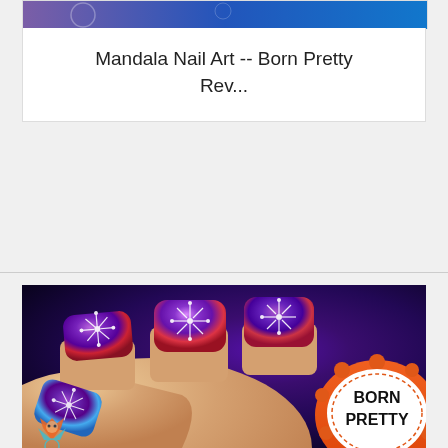[Figure (photo): Partial top image showing nail art with blue/purple holographic polish and a Born Pretty product]
Mandala Nail Art -- Born Pretty Rev...
[Figure (photo): Close-up photo of hand with mandala/constellation nail art in deep purple-red holographic polish with white geometric line designs, next to a Born Pretty brand product container with orange label]